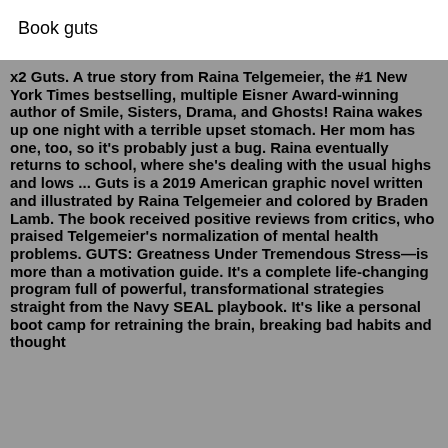Book guts
x2 Guts. A true story from Raina Telgemeier, the #1 New York Times bestselling, multiple Eisner Award-winning author of Smile, Sisters, Drama, and Ghosts! Raina wakes up one night with a terrible upset stomach. Her mom has one, too, so it's probably just a bug. Raina eventually returns to school, where she's dealing with the usual highs and lows ... Guts is a 2019 American graphic novel written and illustrated by Raina Telgemeier and colored by Braden Lamb. The book received positive reviews from critics, who praised Telgemeier's normalization of mental health problems. GUTS: Greatness Under Tremendous Stress—is more than a motivation guide. It's a complete life-changing program full of powerful, transformational strategies straight from the Navy SEAL playbook. It's like a personal boot camp for retraining the brain, breaking bad habits and thought